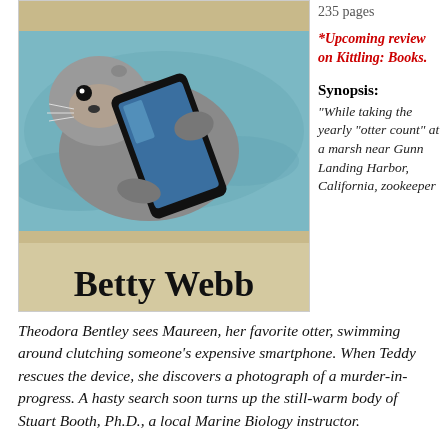[Figure (illustration): Book cover showing a sea otter floating on water holding a smartphone, with 'Betty Webb' written at the bottom in a large serif font against a sandy/beige background.]
235 pages
*Upcoming review on Kittling: Books.
Synopsis:
"While taking the yearly "otter count" at a marsh near Gunn Landing Harbor, California, zookeeper Theodora Bentley sees Maureen, her favorite otter, swimming around clutching someone's expensive smartphone. When Teddy rescues the device, she discovers a photograph of a murder-in-progress. A hasty search soon turns up the still-warm body of Stuart Booth, Ph.D., a local Marine Biology instructor.
Booth was a notorious sexual harasser of young female